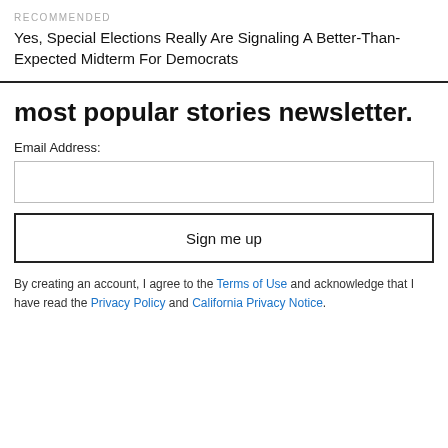RECOMMENDED
Yes, Special Elections Really Are Signaling A Better-Than-Expected Midterm For Democrats
most popular stories newsletter.
Email Address:
Sign me up
By creating an account, I agree to the Terms of Use and acknowledge that I have read the Privacy Policy and California Privacy Notice.